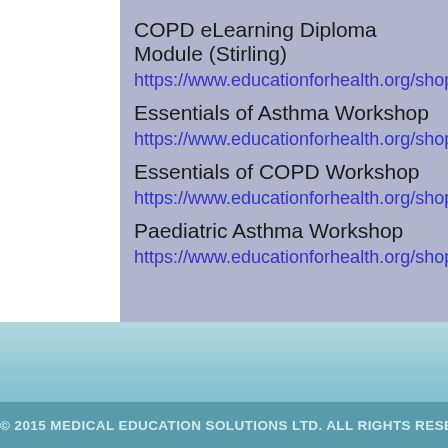COPD eLearning Diploma Module (Stirling)
https://www.educationforhealth.org/shop.php/courses/15
Essentials of Asthma Workshop
https://www.educationforhealth.org/shop.php/courses/15
Essentials of COPD Workshop
https://www.educationforhealth.org/shop.php/courses/14
Paediatric Asthma Workshop
https://www.educationforhealth.org/shop.php/courses/29
Click here to add this module to your dashboard.
© 2015 MEDICAL EDUCATION SOLUTIONS LTD. ALL RIGHTS RESERVED